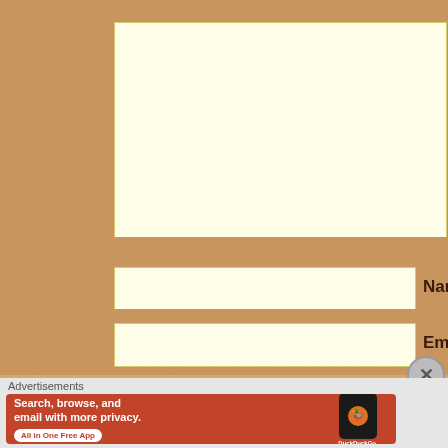[Figure (screenshot): A web form on a tan/kraft paper textured background. Contains a large empty textarea (comment box), a Name input field with red asterisk label, and an Email input field with red asterisk label. A close (X) button appears at the right.]
Name *
Email *
Advertisements
[Figure (photo): DuckDuckGo advertisement banner: orange-red background with text 'Search, browse, and email with more privacy. All in One Free App' alongside an image of a smartphone showing the DuckDuckGo app icon and logo.]